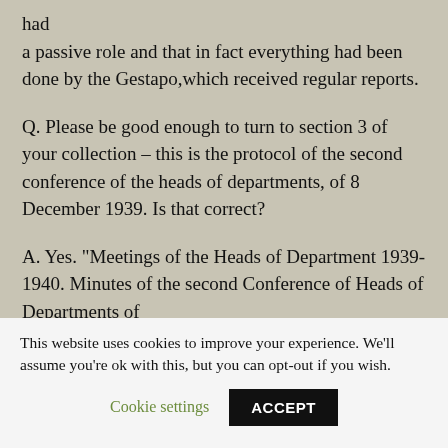had a passive role and that in fact everything had been done by the Gestapo,which received regular reports.
Q. Please be good enough to turn to section 3 of your collection – this is the protocol of the second conference of the heads of departments, of 8 December 1939. Is that correct?
A. Yes. "Meetings of the Heads of Department 1939-1940. Minutes of the second Conference of Heads of Departments of 8 December 1939. Page 3 (page 4 in the Hebrew
This website uses cookies to improve your experience. We'll assume you're ok with this, but you can opt-out if you wish.
Cookie settings
ACCEPT